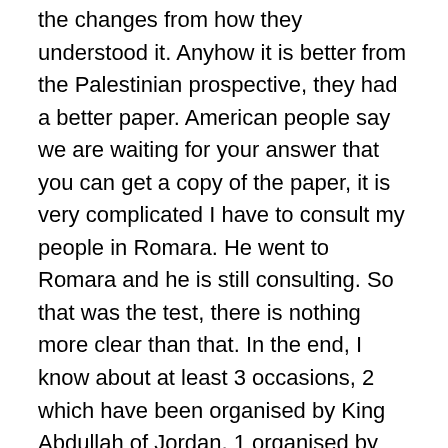the changes from how they understood it. Anyhow it is better from the Palestinian prospective, they had a better paper. American people say we are waiting for your answer that you can get a copy of the paper, it is very complicated I have to consult my people in Romara. He went to Romara and he is still consulting. So that was the test, there is nothing more clear than that. In the end, I know about at least 3 occasions, 2 which have been organised by King Abdullah of Jordan, 1 organised by the Americans and the fourth is the one which didn't happen in spring of 14. The last one is still consulting it is very complicated. So it is not so easy, it is a good opportunity but here is something new and here if the Americans and the Brits will be more involved and more active, something can be reached. I am not speaking about agreement, agreement is another story but to resume negotiations that can be done. They way to do it is